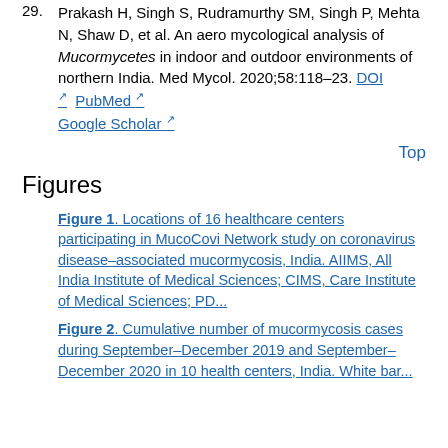29. Prakash H, Singh S, Rudramurthy SM, Singh P, Mehta N, Shaw D, et al. An aero mycological analysis of Mucormycetes in indoor and outdoor environments of northern India. Med Mycol. 2020;58:118–23. DOI PubMed Google Scholar
Top
Figures
Figure 1. Locations of 16 healthcare centers participating in MucoCovi Network study on coronavirus disease–associated mucormycosis, India. AIIMS, All India Institute of Medical Sciences; CIMS, Care Institute of Medical Sciences; PD...
Figure 2. Cumulative number of mucormycosis cases during September–December 2019 and September–December 2020 in 10 health centers, India. White bar...